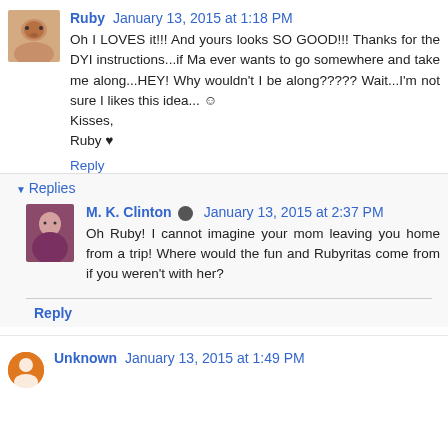Ruby January 13, 2015 at 1:18 PM
Oh I LOVES it!!! And yours looks SO GOOD!!! Thanks for the DYI instructions...if Ma ever wants to go somewhere and take me along...HEY! Why wouldn't I be along????? Wait...I'm not sure I likes this idea... ☺
Kisses,
Ruby ♥
Reply
▼ Replies
M. K. Clinton January 13, 2015 at 2:37 PM
Oh Ruby! I cannot imagine your mom leaving you home from a trip! Where would the fun and Rubyritas come from if you weren't with her?
Reply
Unknown January 13, 2015 at 1:49 PM